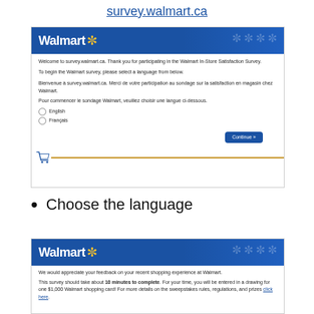survey.walmart.ca
[Figure (screenshot): Screenshot of survey.walmart.ca Walmart In-Store Satisfaction Survey page with Walmart logo header, welcome text in English and French, English/Français radio buttons, Continue button, and cart icon with gold divider line.]
Choose the language
[Figure (screenshot): Screenshot of survey.walmart.ca feedback page with Walmart logo header, text asking for feedback on recent shopping experience, mention of 10 minutes to complete and $1,000 Walmart shopping card drawing.]